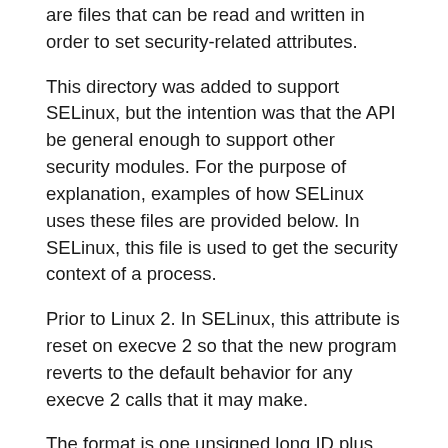are files that can be read and written in order to set security-related attributes.
This directory was added to support SELinux, but the intention was that the API be general enough to support other security modules. For the purpose of explanation, examples of how SELinux uses these files are provided below. In SELinux, this file is used to get the security context of a process.
Prior to Linux 2. In SELinux, this attribute is reset on execve 2 so that the new program reverts to the default behavior for any execve 2 calls that it may make.
The format is one unsigned long ID plus one unsigned long value for each entry. The last entry contains two zeros. See also getauxval 3. The following values may be written to the file: Further values can be written to affect different properties: In the latter case, there is nothing in this file: To find out the current working directory of process 20, for instance, you can do this: In bash 1you